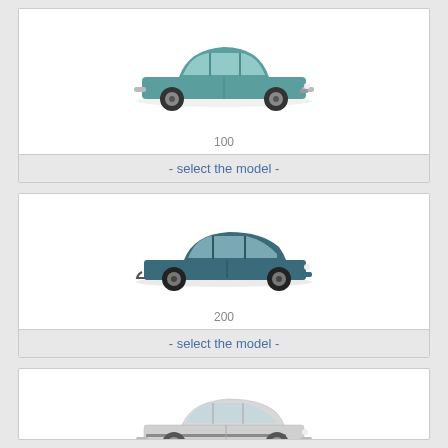[Figure (photo): Side view of a vintage teal/green 4-door sedan car (classic style, ~1960s-70s)]
100
- select the model -
[Figure (photo): Side view of a modern dark teal/green 5-door hatchback car]
200
- select the model -
[Figure (photo): Side view of a white/silver 5-door hatchback car]
25